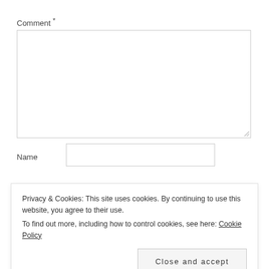Comment *
[Figure (other): Comment textarea input box (empty), with resize handle at bottom-right]
Name
[Figure (other): Name text input field (empty)]
Email
[Figure (other): Email text input field (empty, partially visible)]
Privacy & Cookies: This site uses cookies. By continuing to use this website, you agree to their use.
To find out more, including how to control cookies, see here: Cookie Policy
Close and accept